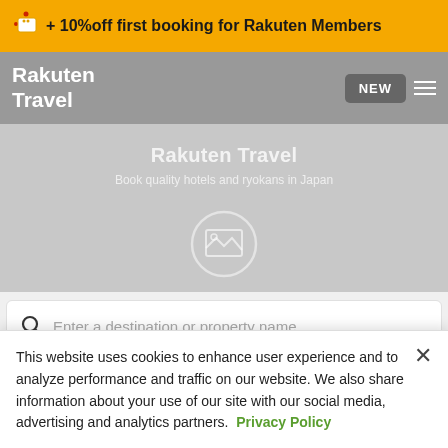+ 10%off first booking for Rakuten Members
Rakuten Travel
[Figure (screenshot): Hero image area with Rakuten Travel branding, gray background, image placeholder icon, title 'Rakuten Travel' and subtitle 'Book quality hotels and ryokans in Japan']
Enter a destination or property name
Choose dates
This website uses cookies to enhance user experience and to analyze performance and traffic on our website. We also share information about your use of our site with our social media, advertising and analytics partners. Privacy Policy